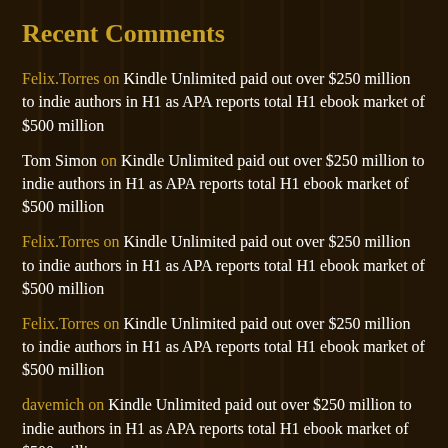Recent Comments
Felix.Torres on Kindle Unlimited paid out over $250 million to indie authors in H1 as APA reports total H1 ebook market of $500 million
Tom Simon on Kindle Unlimited paid out over $250 million to indie authors in H1 as APA reports total H1 ebook market of $500 million
Felix.Torres on Kindle Unlimited paid out over $250 million to indie authors in H1 as APA reports total H1 ebook market of $500 million
Felix.Torres on Kindle Unlimited paid out over $250 million to indie authors in H1 as APA reports total H1 ebook market of $500 million
davemich on Kindle Unlimited paid out over $250 million to indie authors in H1 as APA reports total H1 ebook market of $500 million